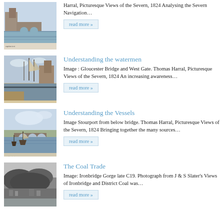[Figure (illustration): Painting of a river scene with buildings and boats, Severn navigation imagery]
Harral, Picturesque Views of the Severn, 1824 Analysing the Severn Navigation…
read more »
[Figure (illustration): Painting of Gloucester Bridge and West Gate with sailing ships]
Understanding the watermen
Image :  Gloucester Bridge and West Gate. Thomas Harral, Picturesque Views of the Severn, 1824 An increasing awareness…
read more »
[Figure (illustration): Painting of Stourport from below bridge with vessels on water]
Understanding the Vessels
Image Stourport from below bridge. Thomas Harral, Picturesque Views of the Severn, 1824 Bringing together the many sources…
read more »
[Figure (photo): Black and white photograph of Ironbridge Gorge late C19]
The Coal Trade
Image: Ironbridge Gorge late C19. Photograph from J & S Slater's Views of Ironbridge and District Coal was…
read more »